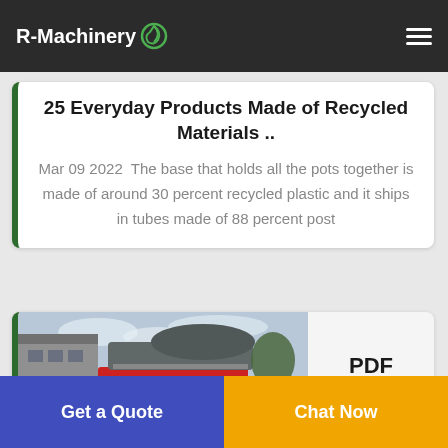R-Machinery
25 Everyday Products Made of Recycled Materials ..
Mar 09 2022  The base that holds all the pots together is made of around 30 percent recycled plastic and it ships in tubes made of 88 percent post
[Figure (photo): Industrial shredder machine with red base, photographed outdoors]
PDF
Get a Quote
Chat Now